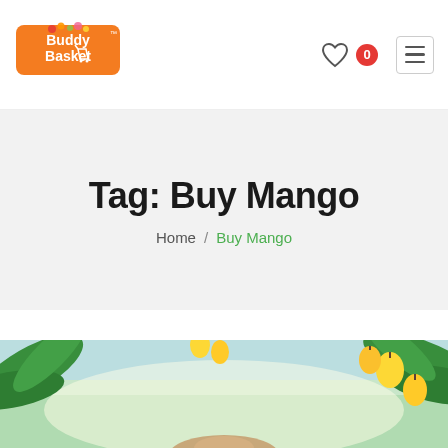[Figure (logo): Buddy Basket logo with shopping cart and colorful fruits, orange text]
[Figure (other): Heart icon wishlist button with red badge showing count 0, and hamburger menu icon]
Tag: Buy Mango
Home / Buy Mango
[Figure (photo): Outdoor scene with green mango leaves, yellow mangoes hanging, bright sunny background, partial view of a person]